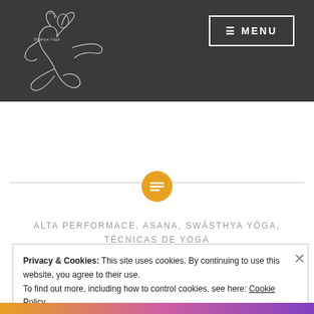MENU
[Figure (logo): Hand-drawn yoga figure / brand logo in black line art on dark background]
[Figure (illustration): Orange circle icon with horizontal lines (list/text icon)]
ALTA PERFORMACE, ASANA, SWÁSTHYA YÔGA, TÉCNICAS DE YOGA
Privacy & Cookies: This site uses cookies. By continuing to use this website, you agree to their use.
To find out more, including how to control cookies, see here: Cookie Policy
Close and accept